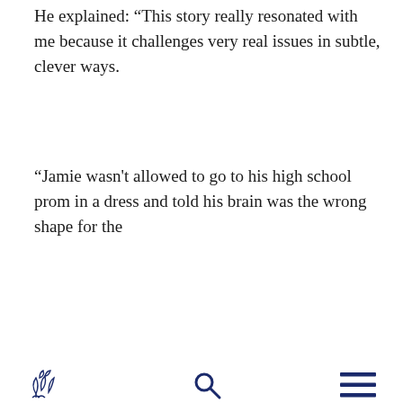He explained: “This story really resonated with me because it challenges very real issues in subtle, clever ways.
“Jamie wasn’t allowed to go to his high school prom in a dress and told his brain was the wrong shape for the
[Figure (other): Website navigation bar with a floral/leaf logo icon on the left, a search magnifier icon in the center, and a hamburger menu icon on the right, all in dark navy blue.]
“It was only when I went to University of Cumbria that I found creative people with the same shaped brain as me and spent the best three years of my life.”
The musical is based on Jamie Campbell, from Bishop Auckland, near to Northallerton, where Stee is from.